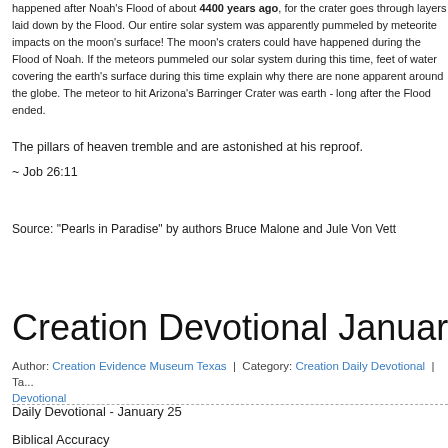happened after Noah's Flood of about 4400 years ago, for the crater goes through layers laid down by the Flood. Our entire solar system was apparently pummeled by meteorite impacts on the moon's surface! The moon's craters could have happened during the Flood of Noah. If the meteors pummeled our solar system during this time, feet of water covering the earth's surface during this time explain why there are none apparent around the globe. The meteor to hit Arizona's Barringer Crater was earth - long after the Flood ended.
The pillars of heaven tremble and are astonished at his reproof.
~ Job 26:11
Source: "Pearls in Paradise" by authors Bruce Malone and Jule Von Vett
Creation Devotional January 25 - Biblic
Author: Creation Evidence Museum Texas | Category: Creation Daily Devotional | Ta... Devotional
Daily Devotional - January 25
Biblical Accuracy
Is the Bible true? Again and again, archeology confirms that the Scriptures are